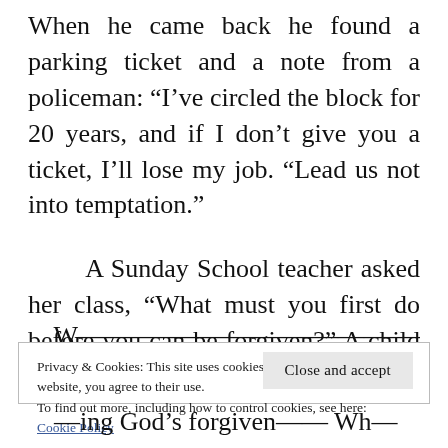When he came back he found a parking ticket and a note from a policeman: “I’ve circled the block for 20 years, and if I don’t give you a ticket, I’ll lose my job. “Lead us not into temptation.”
A Sunday School teacher asked her class, “What must you first do before you can be forgiven?” A child answered, “Sin.”
W...
Privacy & Cookies: This site uses cookies. By continuing to use this website, you agree to their use.
To find out more, including how to control cookies, see here:
Cookie Policy
Close and accept
...ing God’s for give... Wh...